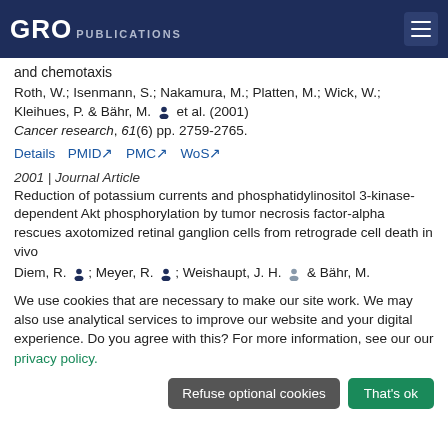GRO PUBLICATIONS
and chemotaxis
Roth, W.; Isenmann, S.; Nakamura, M.; Platten, M.; Wick, W.; Kleihues, P. & Bähr, M. et al. (2001)
Cancer research, 61(6) pp. 2759-2765.
Details  PMID↗  PMC↗  WoS↗
2001 | Journal Article
Reduction of potassium currents and phosphatidylinositol 3-kinase-dependent Akt phosphorylation by tumor necrosis factor-alpha rescues axotomized retinal ganglion cells from retrograde cell death in vivo
Diem, R.; Meyer, R.; Weishaupt, J. H. & Bähr, M.
We use cookies that are necessary to make our site work. We may also use analytical services to improve our website and your digital experience. Do you agree with this? For more information, see our our privacy policy.